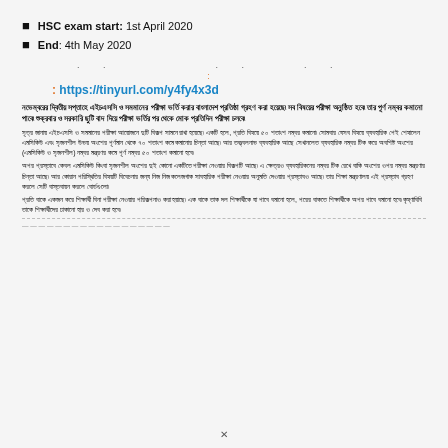HSC exam start: 1st April 2020
End: 4th May 2020
: https://tinyurl.com/y4fy4x3d
নভেম্বরের দ্বিতীয় সপ্তাহে এইচএসসি ও সমমানের পরীক্ষা ভর্তি করার বাংলাদেশ প্রতিষ্ঠা গ্রহণ করা হয়েছে৷ সব বিষয়ের পরীক্ষা অনুষ্ঠিত হবে৷ তার পূর্ণ নম্বর কমানো পাবে৷ শুক্রবার ও সরকারি ছুটি বাদ দিয়ে পরীক্ষা ভর্তির পর থেকে মোক প্রতিদিন পরীক্ষা চলবে৷
সূত্র জানায় এইচএসসি ও সমমানের পরীক্ষা আয়োজনে দুটি বিকল্প সামনে রাখা হয়েছে৷ একটি হলে, প্রতি বিষয়ে ৫০ শতাংশ নম্বর কমানো৷ সোমবার যেসব বিষয়ে ব্যবহারিক পেই শেষালেন এমসিকিউ এবং সৃজনশীল উভয় অংশের পূর্ণমান থেকে ৭০ শতাংশ কমে কমানোর চিন্তা আছে৷ আর তত্ত্বলনাভ ব্যবহারিক আছে সেখানলেত ব্যবহারিক নম্বর টিক করে অবশিষ্ট অংশের (এমসিকিউ ও সৃজনশীল) নম্বর মন্ত্রণর কমে পূর্ণ নম্বর ৫০ শতাংশ কমানো হবে৷
অপর প্রস্তাবে কেবল এমসিকিউ কিংবা সৃজনশীল অংশের দুই কোনো একটিতে পরীক্ষা নেওয়ার বিকল্পটি আছে৷ এ ক্ষেত্রও ব্যবহারিকনের নম্বর টিক রেখে বাকি অংশের ওপর নম্বর মন্ত্রণার চিন্তা আছে৷ আর কোরান পরিস্থিতির বিষয়টি বিবেচনার জন্য নিজ নিজ কলেজগাক সাবহারিক পরীক্ষা নেওয়ার অনুমতি দেওয়ার প্রস্তাবও আছে৷ তার শিক্ষা মন্ত্রণালয় এই প্রস্তাব গ্রহণ করলে সেটি বাস্তবায়ন করলে বোর্ডগুলো৷
প্রতি বাকে একজন করে শিক্ষার্থী বিনা পরীক্ষা নেওয়ার পরিকল্পনাও করা হয়াছে৷ এক বাকে তাক দল শিক্ষার্থীকে যা পাবে বমানো হলে, পরের বাকতে শিক্ষার্থীকে অপর পাবে বমানো হবে৷ কৃষ্ণাবিবি তাকে শিক্ষার্থীদের ঢাকানো হার ও দেব করা হবে৷